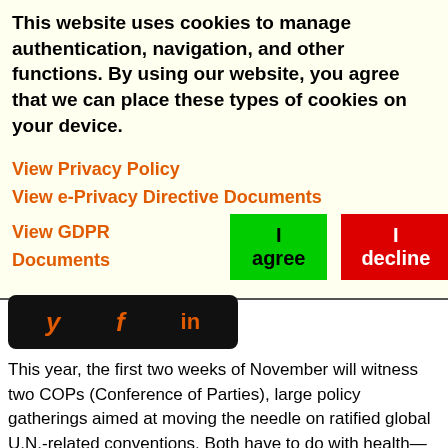This website uses cookies to manage authentication, navigation, and other functions. By using our website, you agree that we can place these types of cookies on your device.
View Privacy Policy
View e-Privacy Directive Documents
View GDPR Documents
[Figure (other): Social media sharing bar with Twitter (y), Facebook (f), and LinkedIn (in) icons on a black rounded rectangle background]
This year, the first two weeks of November will witness two COPs (Conference of Parties), large policy gatherings aimed at moving the needle on ratified global U.N.-related conventions. Both have to do with health—individual, population and the planet's health. Yet, one COP is attracting the leaders of the developed world as well as developing worlds in Glasgow, United Kingdom,